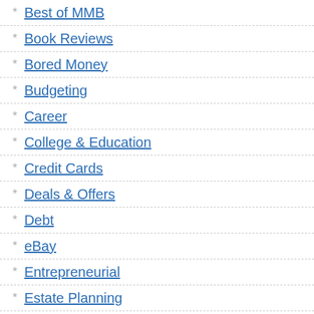Best of MMB
Book Reviews
Bored Money
Budgeting
Career
College & Education
Credit Cards
Deals & Offers
Debt
eBay
Entrepreneurial
Estate Planning
Family